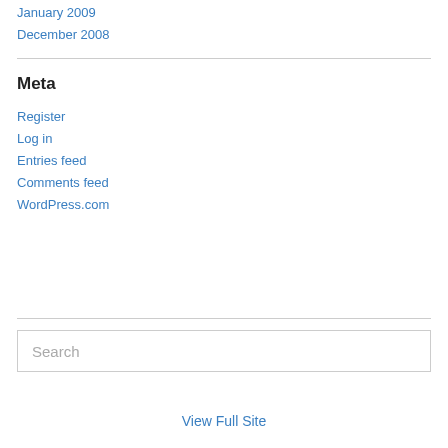January 2009
December 2008
Meta
Register
Log in
Entries feed
Comments feed
WordPress.com
Search
View Full Site